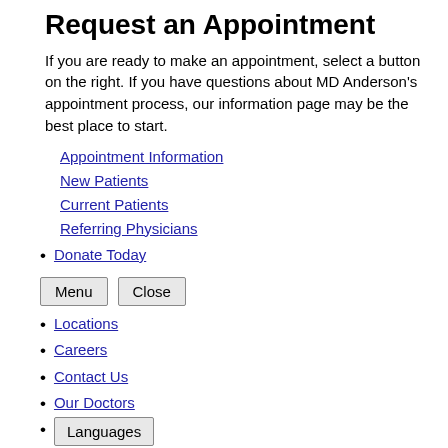Request an Appointment
If you are ready to make an appointment, select a button on the right. If you have questions about MD Anderson's appointment process, our information page may be the best place to start.
Appointment Information
New Patients
Current Patients
Referring Physicians
Donate Today
Menu  Close
Locations
Careers
Contact Us
Our Doctors
Languages
Español
عربي
Alaskan - Summer - Kolsch Style Ale - Iron on Patch NEW
Türkçe